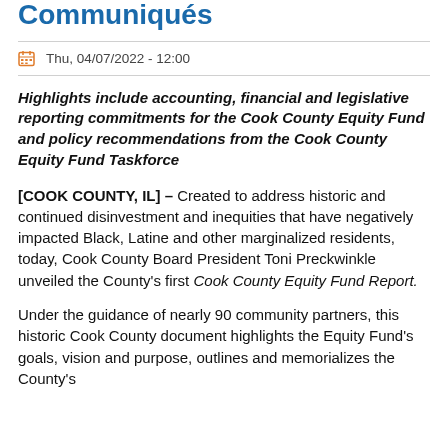Communiqués
Thu, 04/07/2022 - 12:00
Highlights include accounting, financial and legislative reporting commitments for the Cook County Equity Fund and policy recommendations from the Cook County Equity Fund Taskforce
[COOK COUNTY, IL] – Created to address historic and continued disinvestment and inequities that have negatively impacted Black, Latine and other marginalized residents, today, Cook County Board President Toni Preckwinkle unveiled the County's first Cook County Equity Fund Report.
Under the guidance of nearly 90 community partners, this historic Cook County document highlights the Equity Fund's goals, vision and purpose, outlines and memorializes the County's